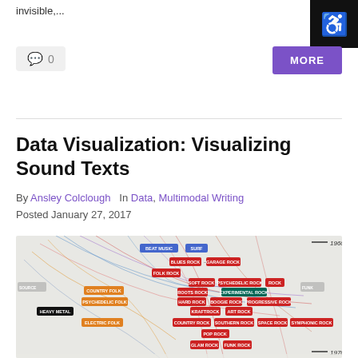invisible,...
💬 0
MORE
Data Visualization: Visualizing Sound Texts
By Ansley Colclough   In Data, Multimodal Writing
Posted January 27, 2017
[Figure (infographic): A network/timeline visualization of rock music genres from 1960 to 1970, showing colored labeled boxes for genres like Beat Music, Surf, Blues Rock, Garage Rock, Folk Rock, Soft Rock, Psychedelic Rock, Rock, Roots Rock, Experimental Rock, Hard Rock, Boogie Rock, Progressive Rock, Country Folk, Psychedelic Folk, Kraftrock, Art Rock, Heavy Metal, Electric Folk, Country Rock, Southern Rock, Space Rock, Symphonic Rock, Pop Rock, Glam Rock, Funk Rock, connected by colored lines indicating relationships and timelines.]